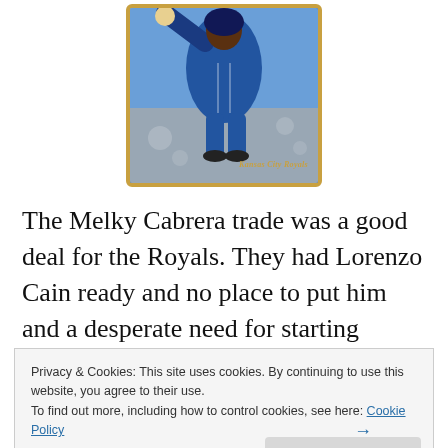[Figure (photo): Baseball trading card with gold border showing a Kansas City Royals player in blue uniform mid-swing or throwing motion]
The Melky Cabrera trade was a good deal for the Royals. They had Lorenzo Cain ready and no place to put him and a desperate need for starting pitching. They got their pitcher but I am going to focus on how it will effect the
Privacy & Cookies: This site uses cookies. By continuing to use this website, you agree to their use.
To find out more, including how to control cookies, see here: Cookie Policy
Close and accept